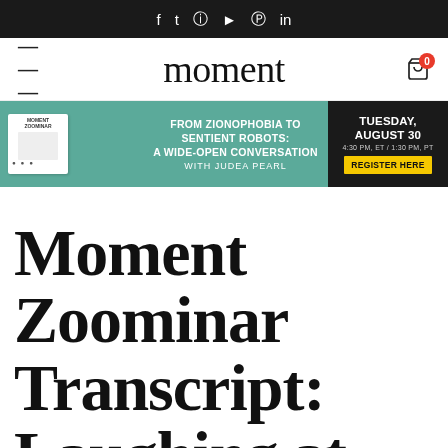f t ⊙ ▶ ⊕ in
moment
[Figure (infographic): Promotional banner for Moment Zoominar event: FROM ZIONOPHOBIA TO SENTIENT ROBOTS: A WIDE-OPEN CONVERSATION with Judea Pearl. TUESDAY, AUGUST 30. 4:30 PM, ET / 1:30 PM, PT. REGISTER HERE.]
Moment Zoominar Transcript: Laughing at Myself with Father